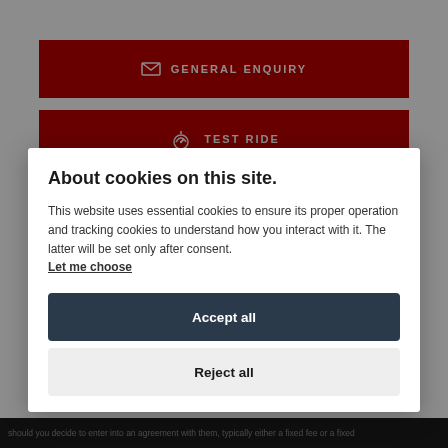[Figure (screenshot): Red button with envelope icon labeled GENERAL ENQUIRY]
[Figure (screenshot): Red button with speedometer icon labeled TEST RIDE]
About cookies on this site.
This website uses essential cookies to ensure its proper operation and tracking cookies to understand how you interact with it. The latter will be set only after consent. Let me choose
[Figure (screenshot): Accept all button (dark navy blue)]
[Figure (screenshot): Reject all button (light gray)]
should you decide to enter into an agreement with them, typically either a fixed fee or a fixed